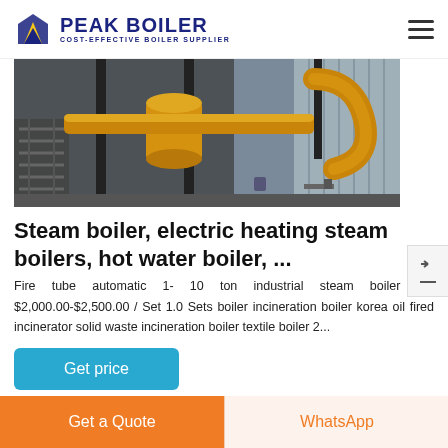PEAK BOILER COST-EFFECTIVE BOILER SUPPLIER
[Figure (photo): Industrial boiler equipment photo showing yellow pipes and machinery in a factory/warehouse setting]
Steam boiler, electric heating steam boilers, hot water boiler, ...
Fire tube automatic 1- 10 ton industrial steam boiler p... $2,000.00-$2,500.00 / Set 1.0 Sets boiler incineration boiler korea oil fired incinerator solid waste incineration boiler textile boiler 2...
Get price
Get a Quote
WhatsApp